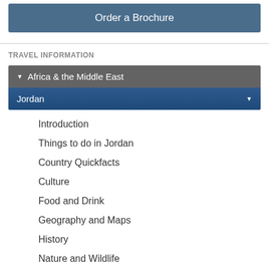Order a Brochure
TRAVEL INFORMATION
Africa & the Middle East
Jordan
Introduction
Things to do in Jordan
Country Quickfacts
Culture
Food and Drink
Geography and Maps
History
Nature and Wildlife
Travel Tips, Visas & Health